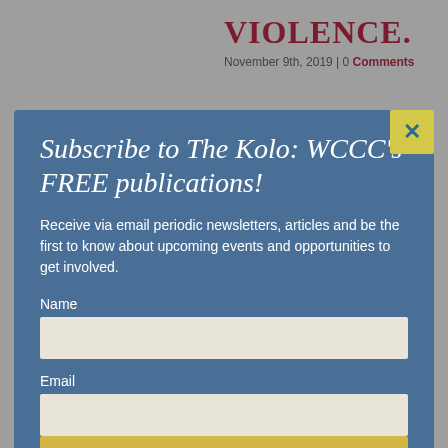VIOLENCE.
November 9th, 2019 | 0 Comments
Subscribe to The Kolo: WCCC's FREE publications!
Receive via email periodic newsletters, articles and be the first to know about upcoming events and opportunities to get involved.
Name
Email
JOIN NOW